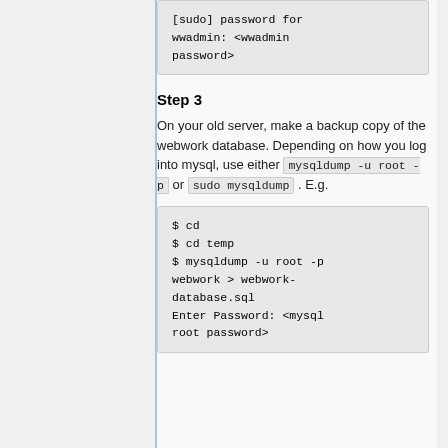[sudo] password for wwadmin: <wwadmin password>
Step 3
On your old server, make a backup copy of the webwork database. Depending on how you log into mysql, use either mysqldump -u root -p or sudo mysqldump . E.g.
$ cd
$ cd temp
$ mysqldump -u root -p webwork > webwork-database.sql
Enter Password: <mysql root password>